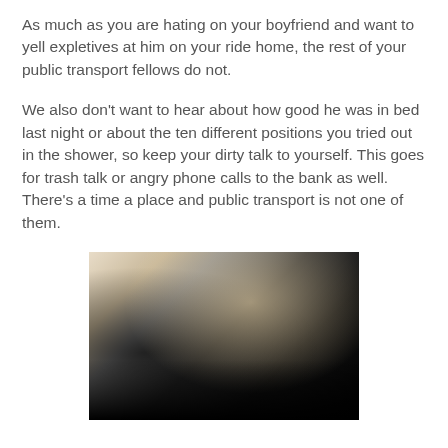As much as you are hating on your boyfriend and want to yell expletives at him on your ride home, the rest of your public transport fellows do not.
We also don't want to hear about how good he was in bed last night or about the ten different positions you tried out in the shower, so keep your dirty talk to yourself. This goes for trash talk or angry phone calls to the bank as well. There’s a time a place and public transport is not one of them.
[Figure (photo): Dark, blurry photo taken inside a public bus or transit vehicle, showing silhouettes of passengers and some interior lighting.]